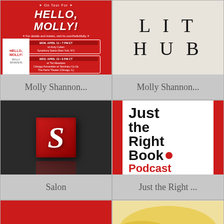[Figure (illustration): Hello Molly book tour promotional card with red background, tour dates listed for April, small book cover on left]
Molly Shannon...
[Figure (logo): Lit Hub logo on cream background with large spaced serif letters LIT HUB]
Molly Shannon...
[Figure (logo): Salon logo - red S letter in glossy box on dark background]
Salon
[Figure (illustration): Just the Right Book Podcast cover with white center panel showing title text on red background with curtains]
Just the Right ...
[Figure (logo): Publishers Weekly PW logo in white serif letters on red background]
[Figure (photo): Person wearing red beret and dark jacket, partial view]